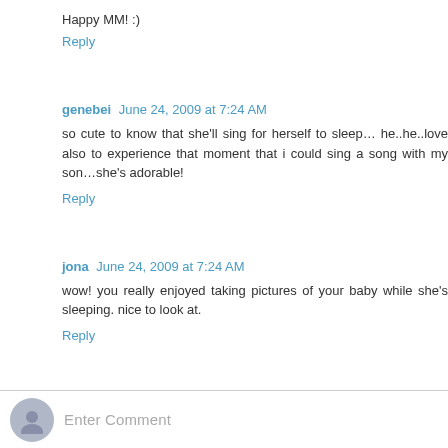Happy MM! :)
Reply
genebei  June 24, 2009 at 7:24 AM
so cute to know that she'll sing for herself to sleep… he..he..love also to experience that moment that i could sing a song with my son…she's adorable!
Reply
jona  June 24, 2009 at 7:24 AM
wow! you really enjoyed taking pictures of your baby while she's sleeping. nice to look at.
Reply
Enter Comment